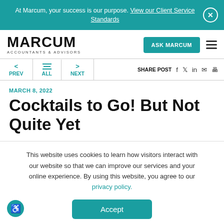At Marcum, your success is our purpose. View our Client Service Standards
[Figure (logo): Marcum Accountants & Advisors logo with ASK MARCUM button and hamburger menu]
< PREV   ALL   > NEXT   SHARE POST
MARCH 8, 2022
Cocktails to Go! But Not Quite Yet
This website uses cookies to learn how visitors interact with our website so that we can improve our services and your online experience. By using this website, you agree to our privacy policy.
Accept